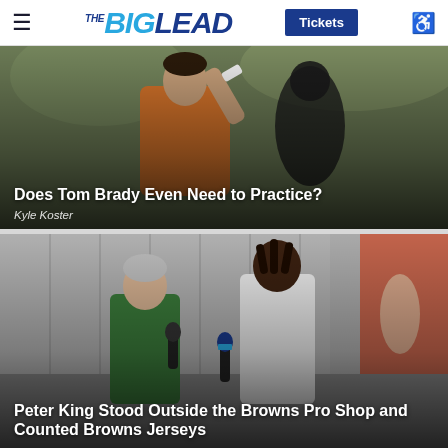THE BIG LEAD | Tickets
[Figure (photo): Football player in orange jersey raising his arm at practice, with another person in background]
Does Tom Brady Even Need to Practice?
Kyle Koster
[Figure (photo): Reporter holding microphone interviewing a football player outdoors near Browns Pro Shop]
Peter King Stood Outside the Browns Pro Shop and Counted Browns Jerseys